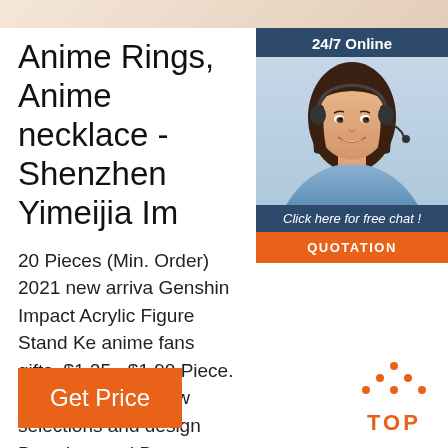Anime Rings, Anime necklace - Shenzhen Yimeijia Im
20 Pieces (Min. Order) 2021 new arriva Genshin Impact Acrylic Figure Stand Ke anime fans gifts. $1.25 - $1.90 Piece. 20 (Min. Order) New selections and design Boys Lanyard Bangtan Boys Neck Stra Lanyard. $0.75 - $0.95 Piece. 10 Pieces Order)
[Figure (photo): Customer service representative woman with headset, smiling, with '24/7 Online' header and 'Click here for free chat!' text below, orange QUOTATION button]
[Figure (logo): TOP logo with orange dots arranged in triangle above the word TOP in orange]
Get Price